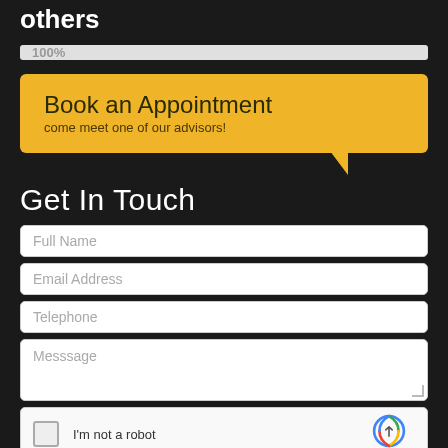others
[Figure (other): Progress bar showing 100% filled, gray background]
[Figure (other): Yellow speech bubble with text 'Book an Appointment' and subtitle 'come meet one of our advisors!' with a tail pointing down-right]
Get In Touch
Full Name
Email Address
Telephone
Messsage
[Figure (other): reCAPTCHA widget with checkbox labeled 'I'm not a robot' and reCAPTCHA logo]